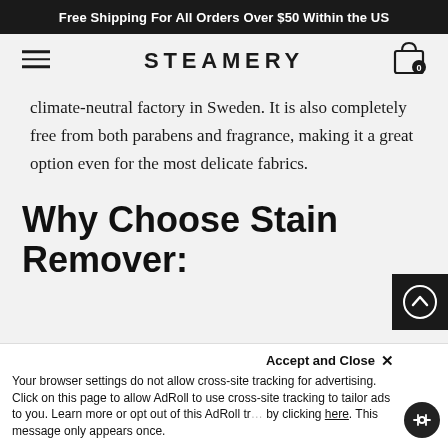Free Shipping For All Orders Over $50 Within the US
[Figure (logo): Steamery brand logo with hamburger menu and cart icon showing 0 items]
climate-neutral factory in Sweden. It is also completely free from both parabens and fragrance, making it a great option even for the most delicate fabrics.
Why Choose Stain Remover:
Your browser settings do not allow cross-site tracking for advertising. Click on this page to allow AdRoll to use cross-site tracking to tailor ads to you. Learn more or opt out of this AdRoll tracking by clicking here. This message only appears once.